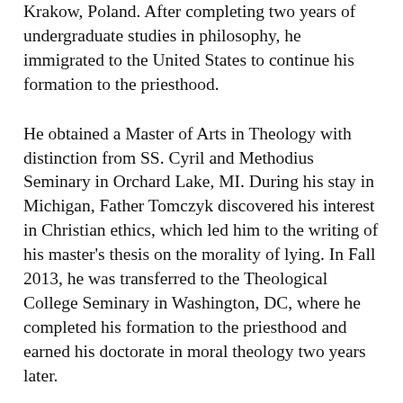Krakow, Poland. After completing two years of undergraduate studies in philosophy, he immigrated to the United States to continue his formation to the priesthood.
He obtained a Master of Arts in Theology with distinction from SS. Cyril and Methodius Seminary in Orchard Lake, MI. During his stay in Michigan, Father Tomczyk discovered his interest in Christian ethics, which led him to the writing of his master's thesis on the morality of lying. In Fall 2013, he was transferred to the Theological College Seminary in Washington, DC, where he completed his formation to the priesthood and earned his doctorate in moral theology two years later.
Father Tomczyk was ordained a priest on May 23, 2015, for the Diocese of Paterson. He currently serves on both the academic faculty and the formation faculty of Immaculate Conception Seminary School of Theology and assists at Holy